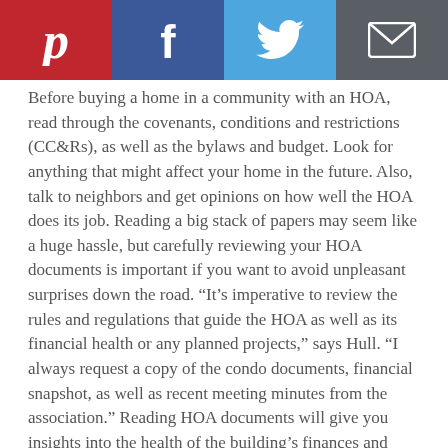[Figure (other): Social sharing bar with Pinterest (red), Facebook (dark blue), Twitter (light blue), and email/envelope (dark grey) buttons]
Before buying a home in a community with an HOA, read through the covenants, conditions and restrictions (CC&Rs), as well as the bylaws and budget. Look for anything that might affect your home in the future. Also, talk to neighbors and get opinions on how well the HOA does its job. Reading a big stack of papers may seem like a huge hassle, but carefully reviewing your HOA documents is important if you want to avoid unpleasant surprises down the road. “It’s imperative to review the rules and regulations that guide the HOA as well as its financial health or any planned projects,” says Hull. “I always request a copy of the condo documents, financial snapshot, as well as recent meeting minutes from the association.” Reading HOA documents will give you insights into the health of the building’s finances and whether there may be any imminent increases in HOA dues.
Poulos also recommends reading the HOA documents as soon as possible, rather than later in the home-